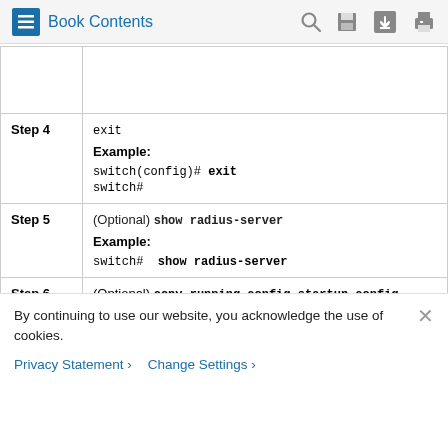Book Contents
| Step | Command/Description |
| --- | --- |
|  |  |
| Step 4 | exit
Example:
switch(config)# exit
switch# |
| Step 5 | (Optional) show radius-server
Example:
switch# show radius-server |
| Step 6 | (Optional) copy running-config startup-config |
By continuing to use our website, you acknowledge the use of cookies.
Privacy Statement > Change Settings >